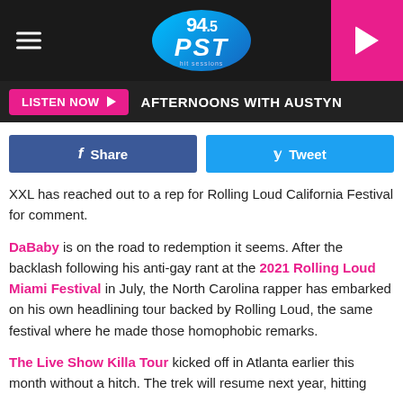[Figure (logo): 94.5 PST radio station logo on dark header bar with hamburger menu and pink play button]
LISTEN NOW ▶   AFTERNOONS WITH AUSTYN
[Figure (infographic): Facebook Share button and Twitter Tweet button]
XXL has reached out to a rep for Rolling Loud California Festival for comment.
DaBaby is on the road to redemption it seems. After the backlash following his anti-gay rant at the 2021 Rolling Loud Miami Festival in July, the North Carolina rapper has embarked on his own headlining tour backed by Rolling Loud, the same festival where he made those homophobic remarks.
The Live Show Killa Tour kicked off in Atlanta earlier this month without a hitch. The trek will resume next year, hitting